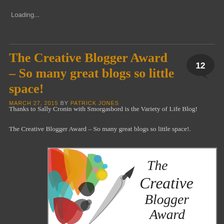Loading...
The Creative Blogger Award – So many great blogs so little space!
MARCH 27, 2015 BY PATRICK JONES
Thanks to Sally Cronin with Smorgasbord is the Variety of Life Blog!
The Creative Blogger Award – So many great blogs so little space!.
[Figure (illustration): The Creative Blogger Award image featuring colorful abstract feather/quill design with text 'The Creative Blogger Award' on a white background]